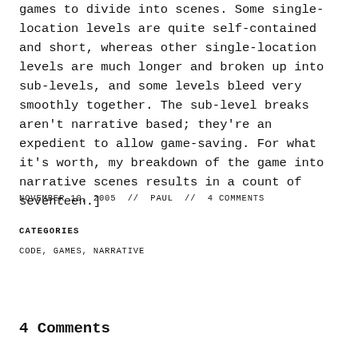games to divide into scenes. Some single-location levels are quite self-contained and short, whereas other single-location levels are much longer and broken up into sub-levels, and some levels bleed very smoothly together. The sub-level breaks aren't narrative based; they're an expedient to allow game-saving. For what it's worth, my breakdown of the game into narrative scenes results in a count of seventeen.]
NOVEMBER 10, 2005  //  PAUL  //  4 COMMENTS
CATEGORIES
CODE, GAMES, NARRATIVE
4 Comments